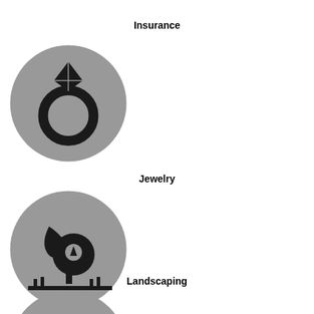Insurance
[Figure (illustration): Gray circle icon with a diamond ring (jewelry/insurance icon)]
Jewelry
[Figure (illustration): Gray circle icon with a tree and water drop (landscaping icon)]
Landscaping
[Figure (illustration): Gray circle icon with a gavel/hammer (law/auction icon), partially visible]